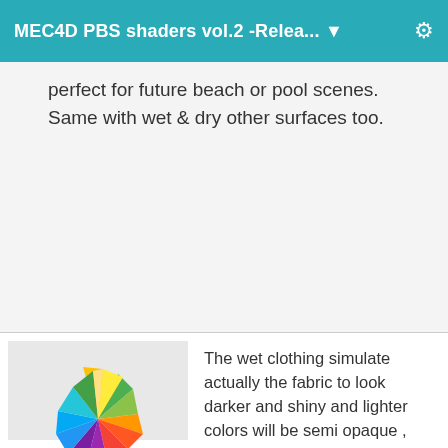MEC4D PBS shaders vol.2 -Relea... ▼
perfect for future beach or pool scenes.  Same with wet & dry other surfaces too.
[Figure (logo): Colorful geometric star/flower logo made of multi-colored angular shapes]
MEC4D
Posts: 5,249
March 2016
The wet clothing simulate actually the fabric to look darker and shiny and lighter colors will be semi opaque , swim suits usually do not get semi opaque when wet other way nobody will use them on the beach , but if you use dress or t-shirt in combination then it is another story lol   PBR materials should simulate the surface as in reality .. so black t-shirt will look wet but